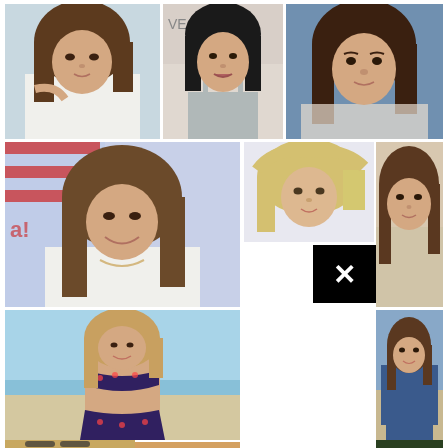[Figure (photo): Young woman with brown wavy hair, white top, outdoor setting]
[Figure (photo): Dark-haired woman in silver top at event with VEGA sign]
[Figure (photo): Dark-haired woman with wavy hair, blue background]
[Figure (photo): Smiling woman with long brown hair, white blazer, American flag]
[Figure (photo): Blonde woman with windswept hair, portrait]
[Figure (photo): Woman with dark wavy hair, cardigan, looking at camera]
[Figure (photo): Woman in bikini on beach]
[Figure (photo): Woman in denim jacket on beach, kneeling]
[Figure (photo): Blonde woman with sunglasses, partial crop]
[Figure (photo): Partial image, dark/tropical background]